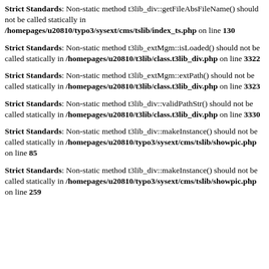Strict Standards: Non-static method t3lib_div::getFileAbsFileName() should not be called statically in /homepages/u20810/typo3/sysext/cms/tslib/index_ts.php on line 130
Strict Standards: Non-static method t3lib_extMgm::isLoaded() should not be called statically in /homepages/u20810/t3lib/class.t3lib_div.php on line 3322
Strict Standards: Non-static method t3lib_extMgm::extPath() should not be called statically in /homepages/u20810/t3lib/class.t3lib_div.php on line 3323
Strict Standards: Non-static method t3lib_div::validPathStr() should not be called statically in /homepages/u20810/t3lib/class.t3lib_div.php on line 3330
Strict Standards: Non-static method t3lib_div::makeInstance() should not be called statically in /homepages/u20810/typo3/sysext/cms/tslib/showpic.php on line 85
Strict Standards: Non-static method t3lib_div::makeInstance() should not be called statically in /homepages/u20810/typo3/sysext/cms/tslib/showpic.php on line 259